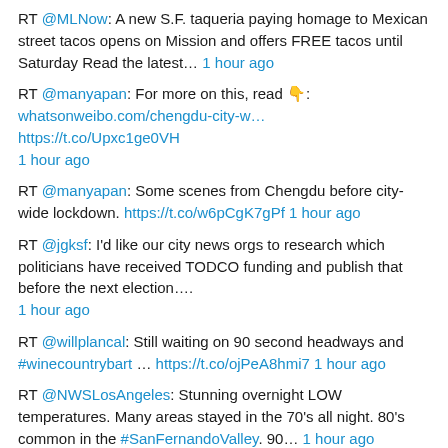RT @MLNow: A new S.F. taqueria paying homage to Mexican street tacos opens on Mission and offers FREE tacos until Saturday Read the latest… 1 hour ago
RT @manyapan: For more on this, read 👇: whatsonweibo.com/chengdu-city-w… https://t.co/Upxc1ge0VH 1 hour ago
RT @manyapan: Some scenes from Chengdu before city-wide lockdown. https://t.co/w6pCgK7gPf 1 hour ago
RT @jgksf: I'd like our city news orgs to research which politicians have received TODCO funding and publish that before the next election…. 1 hour ago
RT @willplancal: Still waiting on 90 second headways and #winecountrybart … https://t.co/ojPeA8hmi7 1 hour ago
RT @NWSLosAngeles: Stunning overnight LOW temperatures. Many areas stayed in the 70's all night. 80's common in the #SanFernandoValley. 90… 1 hour ago